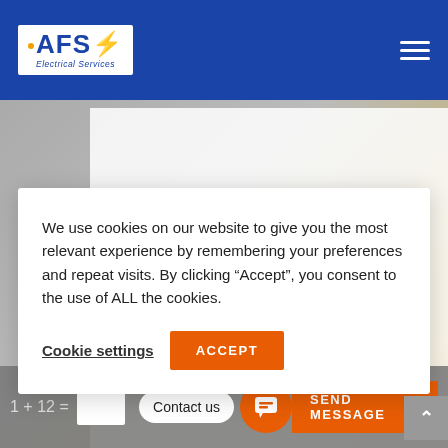[Figure (logo): AFS Electrical Services logo — blue background navbar with white box containing AFS text with lightning bolt and 'Electrical Services' subtitle, and hamburger menu icon on right]
We use cookies on our website to give you the most relevant experience by remembering your preferences and repeat visits. By clicking “Accept”, you consent to the use of ALL the cookies.
Cookie settings
ACCEPT
Contact us
1 + 12 =
SEND MESSAGE